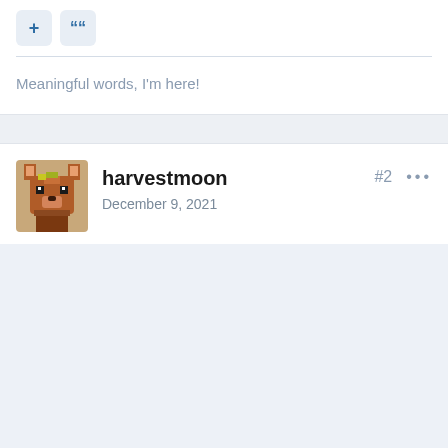[Figure (screenshot): Forum post interface showing toolbar with + and quote buttons, placeholder text, a section separator, and a post by user harvestmoon dated December 9, 2021 with a pixel art fox avatar, post number #2, and empty post body area.]
Meaningful words, I'm here!
harvestmoon
December 9, 2021
#2